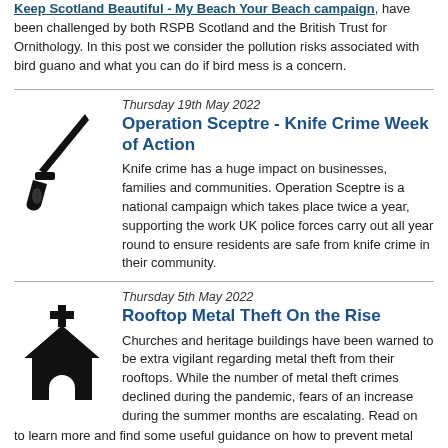Keep Scotland Beautiful - My Beach Your Beach campaign, have been challenged by both RSPB Scotland and the British Trust for Ornithology. In this post we consider the pollution risks associated with bird guano and what you can do if bird mess is a concern.
Thursday 19th May 2022
Operation Sceptre - Knife Crime Week of Action
Knife crime has a huge impact on businesses, families and communities. Operation Sceptre is a national campaign which takes place twice a year, supporting the work UK police forces carry out all year round to ensure residents are safe from knife crime in their community.
Thursday 5th May 2022
Rooftop Metal Theft On the Rise
Churches and heritage buildings have been warned to be extra vigilant regarding metal theft from their rooftops. While the number of metal theft crimes declined during the pandemic, fears of an increase during the summer months are escalating. Read on to learn more and find some useful guidance on how to prevent metal theft.